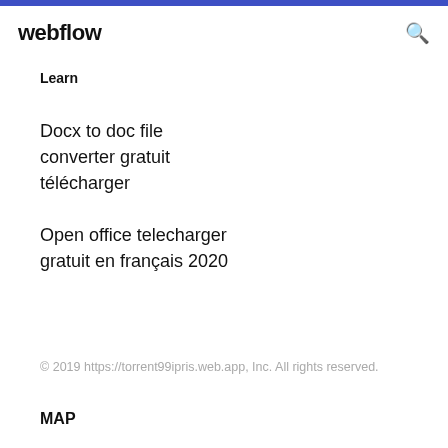webflow
Learn
Docx to doc file converter gratuit télécharger
Open office telecharger gratuit en français 2020
© 2019 https://torrent99ipris.web.app, Inc. All rights reserved.
MAP